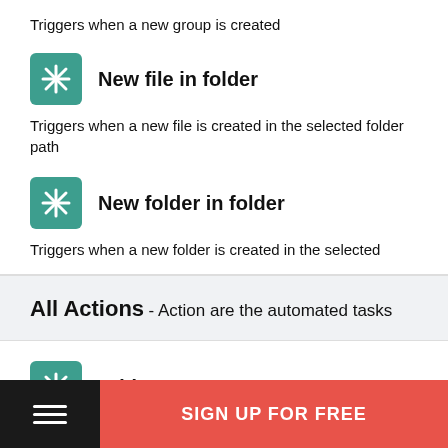Triggers when a new group is created
New file in folder
Triggers when a new file is created in the selected folder path
New folder in folder
Triggers when a new folder is created in the selected
All Actions - Action are the automated tasks
Add user
SIGN UP FOR FREE